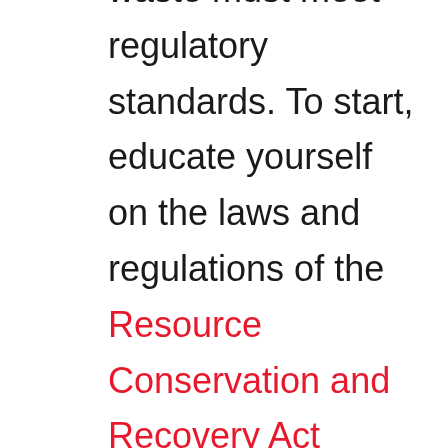The management of your laboratory waste must meet regulatory standards. To start, educate yourself on the laws and regulations of the Resource Conservation and Recovery Act (RCRA). Next, it's essential to know your lab's waste profile – what types of waste you are generating and how you safely handle your lab waste. RCRA violations can result in steep financial penalties and even criminal prosecution. Additionally, unsafe handling of